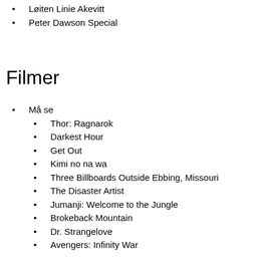Falcon Jubryga
Løiten Linie Akevitt
Peter Dawson Special
Filmer
Må se
Thor: Ragnarok
Darkest Hour
Get Out
Kimi no na wa
Three Billboards Outside Ebbing, Missouri
The Disaster Artist
Jumanji: Welcome to the Jungle
Brokeback Mountain
Dr. Strangelove
Avengers: Infinity War